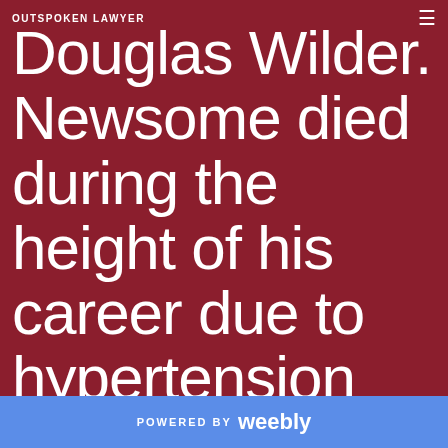OUTSPOKEN LAWYER
Douglas Wilder. Newsome died during the height of his career due to hypertension and kidney
POWERED BY weebly